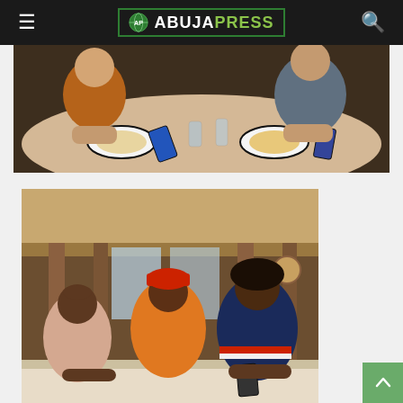AbujaPress
[Figure (photo): Top-down view of people seated at a round dining table with plates of food and smartphones on the table. Two women visible, one in a sequined top, one in a grey dress.]
[Figure (photo): Three people seated at a table in an ornate restaurant/hall with classical architecture. A man wearing a red traditional cap and orange outfit sits between two women. The woman on the right wears a navy polo with red/white stripes and holds a phone.]